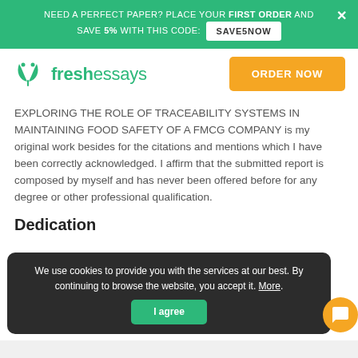NEED A PERFECT PAPER? PLACE YOUR FIRST ORDER AND SAVE 5% WITH THIS CODE: SAVE5NOW
[Figure (logo): FreshEssays logo: green open book icon with text 'freshessays' in green]
EXPLORING THE ROLE OF TRACEABILITY SYSTEMS IN MAINTAINING FOOD SAFETY OF A FMCG COMPANY is my original work besides for the citations and mentions which I have been correctly acknowledged. I affirm that the submitted report is composed by myself and has never been offered before for any degree or other professional qualification.
Dedication
We use cookies to provide you with the services at our best. By continuing to browse the website, you accept it. More. I agree